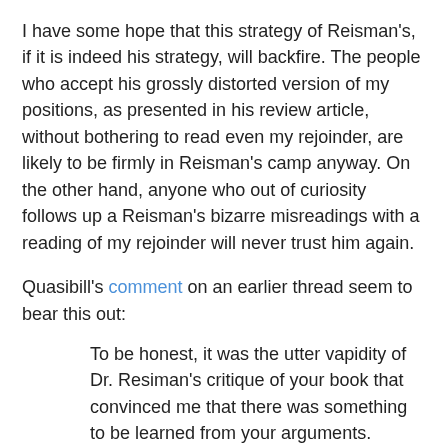I have some hope that this strategy of Reisman's, if it is indeed his strategy, will backfire. The people who accept his grossly distorted version of my positions, as presented in his review article, without bothering to read even my rejoinder, are likely to be firmly in Reisman's camp anyway. On the other hand, anyone who out of curiosity follows up a Reisman's bizarre misreadings with a reading of my rejoinder will never trust him again.
Quasibill's comment on an earlier thread seem to bear this out:
To be honest, it was the utter vapidity of Dr. Resiman's critique of your book that convinced me that there was something to be learned from your arguments.
Not that Reisman makes many good arguments (I think he takes Rothbard's prediction about experts specializing where they are weakest as a challenge to live up to), but his inability to